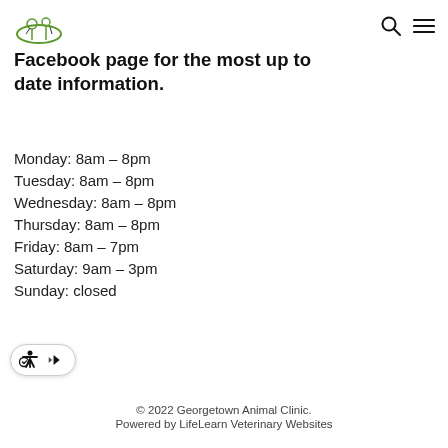Georgetown Animal Clinic logo, search icon, menu icon
Facebook page for the most up to date information.
Monday: 8am – 8pm
Tuesday: 8am – 8pm
Wednesday: 8am – 8pm
Thursday: 8am – 8pm
Friday: 8am – 7pm
Saturday: 9am – 3pm
Sunday: closed
© 2022 Georgetown Animal Clinic. Powered by LifeLearn Veterinary Websites